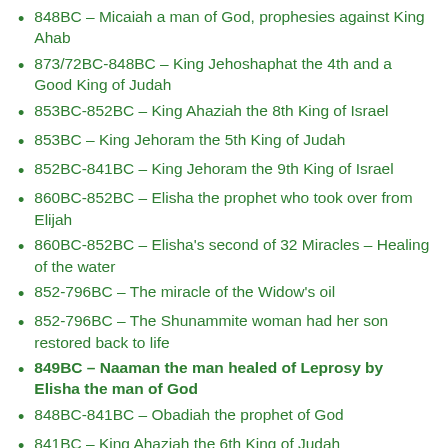848BC – Micaiah a man of God, prophesies against King Ahab
873/72BC-848BC – King Jehoshaphat the 4th and a Good King of Judah
853BC-852BC – King Ahaziah the 8th King of Israel
853BC – King Jehoram the 5th King of Judah
852BC-841BC – King Jehoram the 9th King of Israel
860BC-852BC – Elisha the prophet who took over from Elijah
860BC-852BC – Elisha's second of 32 Miracles – Healing of the water
852-796BC – The miracle of the Widow's oil
852-796BC – The Shunammite woman had her son restored back to life
849BC – Naaman the man healed of Leprosy by Elisha the man of God
848BC-841BC – Obadiah the prophet of God
841BC – King Ahaziah the 6th King of Judah
841BC – Queen Athaliah the 7th King of Judah